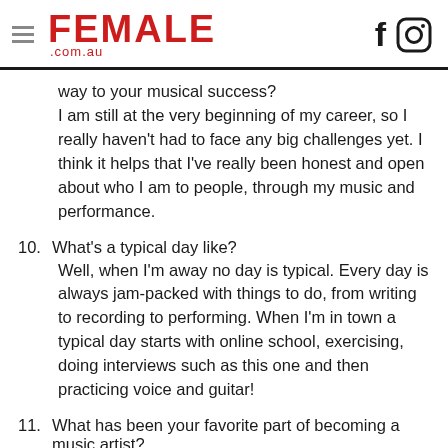FEMALE .com.au
way to your musical success?
I am still at the very beginning of my career, so I really haven't had to face any big challenges yet. I think it helps that I've really been honest and open about who I am to people, through my music and performance.
10. What's a typical day like?
Well, when I'm away no day is typical. Every day is always jam-packed with things to do, from writing to recording to performing. When I'm in town a typical day starts with online school, exercising, doing interviews such as this one and then practicing voice and guitar!
11. What has been your favorite part of becoming a music artist?